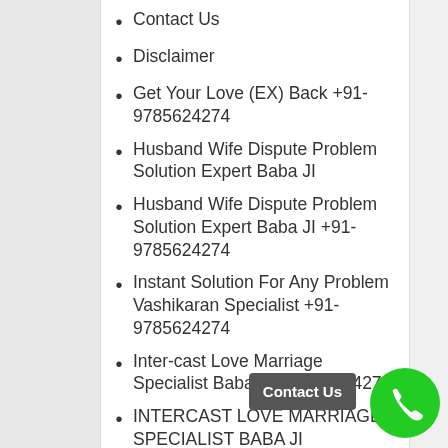Contact Us
Disclaimer
Get Your Love (EX) Back +91-9785624274
Husband Wife Dispute Problem Solution Expert Baba JI
Husband Wife Dispute Problem Solution Expert Baba JI +91-9785624274
Instant Solution For Any Problem Vashikaran Specialist +91-9785624274
Inter-cast Love Marriage Specialist Baba +91-9785624274
INTERCAST LOVE MARRIAGE SPECIALIST BABA JI
LOVE MARRIAGE SPECIALIST BABA JI +91...